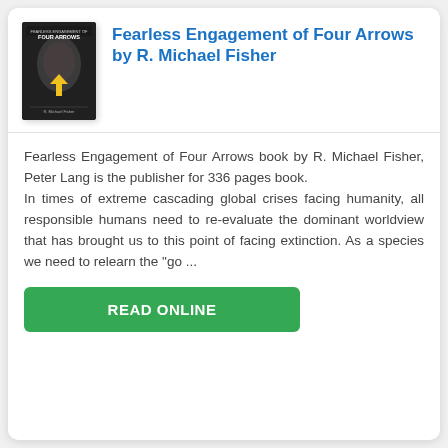[Figure (illustration): Book cover of 'Fearless Engagement of Four Arrows' showing a dark background with a person's face and a yellow arrow/bird motif, authored by R. Michael Fisher]
Fearless Engagement of Four Arrows by R. Michael Fisher
Fearless Engagement of Four Arrows book by R. Michael Fisher, Peter Lang is the publisher for 336 pages book. In times of extreme cascading global crises facing humanity, all responsible humans need to re-evaluate the dominant worldview that has brought us to this point of facing extinction. As a species we need to relearn the "go ...
READ ONLINE